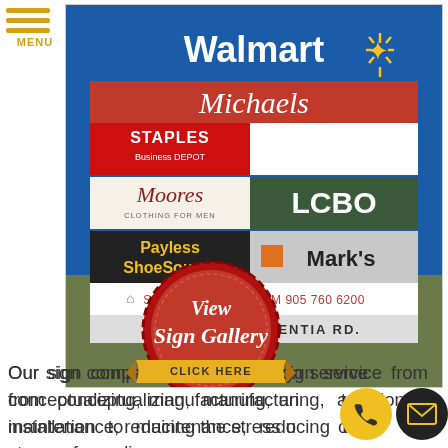[Figure (photo): Outdoor retail plaza sign board showing Walmart, Michaels, Staples Business Depot, Moores Clothing for Men, LCBO, Payless ShoeSource, Mark's, SmartCentres.com 905 760 6200, 3021-3155 Argentia Rd. Blue framed sign with parking lot in background.]
[Figure (infographic): Red seal badge with gold ribbon banner reading 'View Sign Gallery - CLICK HERE']
Our sign company offers a full sign service from conceptualizing, manufacturing, and installation to maintenance, reducing the stress of our clien...